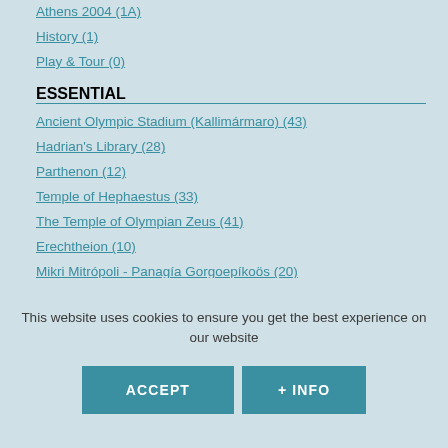Athens 2004 (1A)
History (1)
Play & Tour (0)
ESSENTIAL
Ancient Olympic Stadium (Kallimármaro) (43)
Hadrian's Library (28)
Parthenon (12)
Temple of Hephaestus (33)
The Temple of Olympian Zeus (41)
Erechtheion (10)
Mikri Mitrópoli - Panagía Gorgoepíkoös (20)
This website uses cookies to ensure you get the best experience on our website
ACCEPT
+ INFO